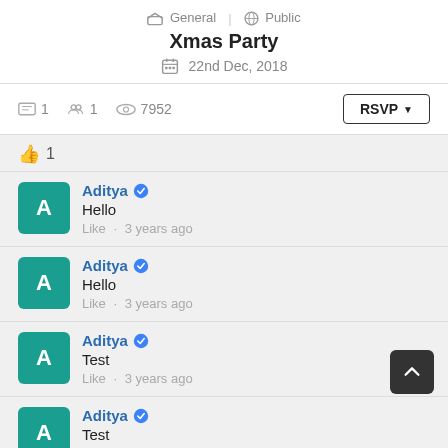General | Public
Xmas Party
22nd Dec, 2018
1  1  7952  RSVP
👍 1
Aditya ✓
Hello
Like · 3 years ago
Aditya ✓
Hello
Like · 3 years ago
Aditya ✓
Test
Like · 3 years ago
Aditya ✓
Test